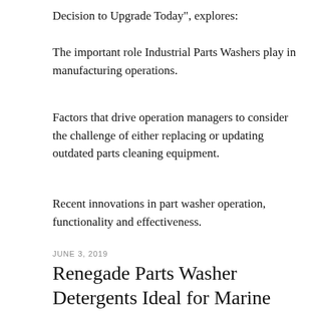Decision to Upgrade Today", explores:
The important role Industrial Parts Washers play in manufacturing operations.
Factors that drive operation managers to consider the challenge of either replacing or updating outdated parts cleaning equipment.
Recent innovations in part washer operation, functionality and effectiveness.
JUNE 3, 2019
Renegade Parts Washer Detergents Ideal for Marine Repair and Service Departments.